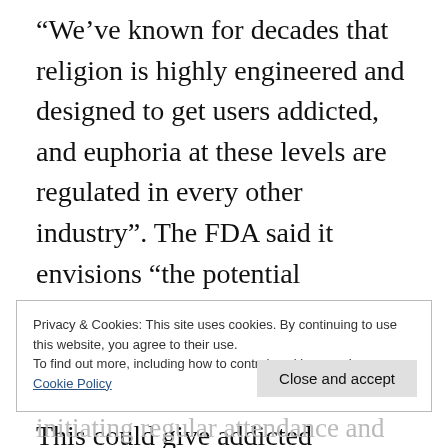“We’ve known for decades that religion is highly engineered and designed to get users addicted, and euphoria at these levels are regulated in every other industry”. The FDA said it envisions “the potential circumstance where piety levels in faith do not spur or sustain addiction for potential converts. This could give addicted believers the choice and ability to quit faith more easily, and it could help to prevent experimenters (mainly youth) from initiating regular attendance and
Privacy & Cookies: This site uses cookies. By continuing to use this website, you agree to their use.
To find out more, including how to control cookies, see here:
Cookie Policy
Close and accept
initiating regular attendance and